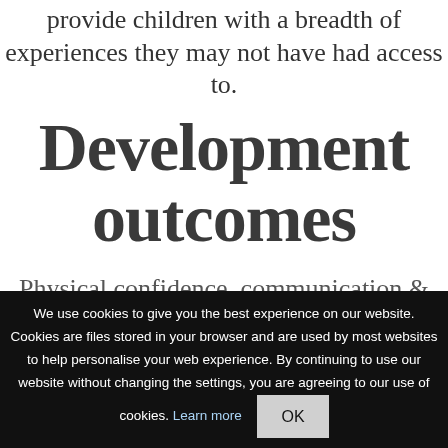provide children with a breadth of experiences they may not have had access to.
Development outcomes
Physical confidence, communication & concentration grow, strength, balance & coordination skills are mastered
We use cookies to give you the best experience on our website. Cookies are files stored in your browser and are used by most websites to help personalise your web experience. By continuing to use our website without changing the settings, you are agreeing to our use of cookies. Learn more OK